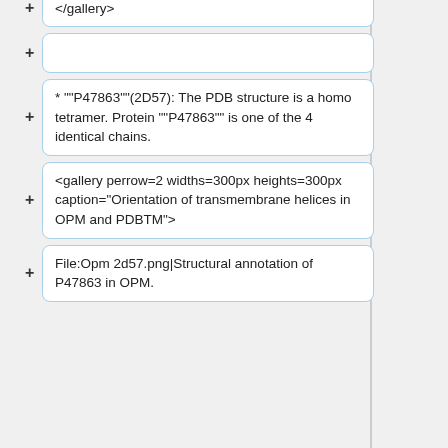There are total 4 transmembrane helices.
</gallery>
* ""P47863""(2D57): The PDB structure is a homo tetramer. Protein ""P47863"" is one of the 4 identical chains.
<gallery perrow=2 widths=300px heights=300px caption="Orientation of transmembrane helices in OPM and PDBTM">
File:Opm 2d57.png|Structural annotation of P47863 in OPM.